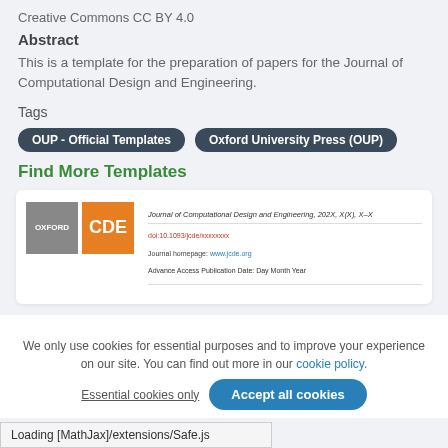Creative Commons CC BY 4.0
Abstract
This is a template for the preparation of papers for the Journal of Computational Design and Engineering.
Tags
OUP - Official Templates
Oxford University Press (OUP)
Find More Templates
[Figure (screenshot): Template card showing Oxford/CDE logos and Journal of Computational Design and Engineering header with DOI, journal homepage, and publication date fields]
We only use cookies for essential purposes and to improve your experience on our site. You can find out more in our cookie policy.
Essential cookies only   Accept all cookies
Loading [MathJax]/extensions/Safe.js